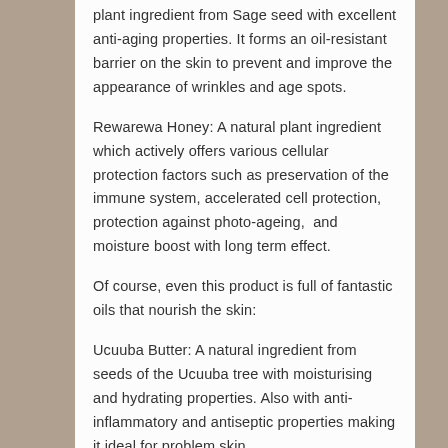plant ingredient from Sage seed with excellent anti-aging properties. It forms an oil-resistant barrier on the skin to prevent and improve the appearance of wrinkles and age spots.
Rewarewa Honey: A natural plant ingredient which actively offers various cellular protection factors such as preservation of the immune system, accelerated cell protection, protection against photo-ageing, and moisture boost with long term effect.
Of course, even this product is full of fantastic oils that nourish the skin:
Ucuuba Butter: A natural ingredient from seeds of the Ucuuba tree with moisturising and hydrating properties. Also with anti-inflammatory and antiseptic properties making it ideal for problem skin.